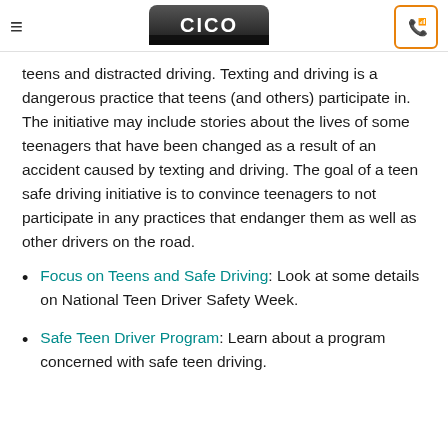CICO
teens and distracted driving. Texting and driving is a dangerous practice that teens (and others) participate in. The initiative may include stories about the lives of some teenagers that have been changed as a result of an accident caused by texting and driving. The goal of a teen safe driving initiative is to convince teenagers to not participate in any practices that endanger them as well as other drivers on the road.
Focus on Teens and Safe Driving: Look at some details on National Teen Driver Safety Week.
Safe Teen Driver Program: Learn about a program concerned with safe teen driving.